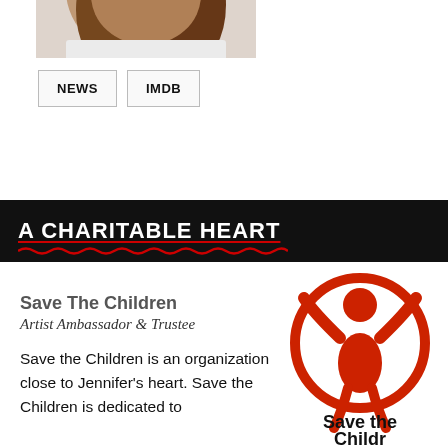[Figure (photo): Partial photo of a woman with brown hair, showing only the top of head and shoulders with white shirt]
NEWS    IMDB
A CHARITABLE HEART
Save The Children
Artist Ambassador & Trustee
Save the Children is an organization close to Jennifer's heart. Save the Children is dedicated to
[Figure (logo): Save the Children red logo showing a child figure with arms raised inside a circle, with black text 'Save the Children' below]